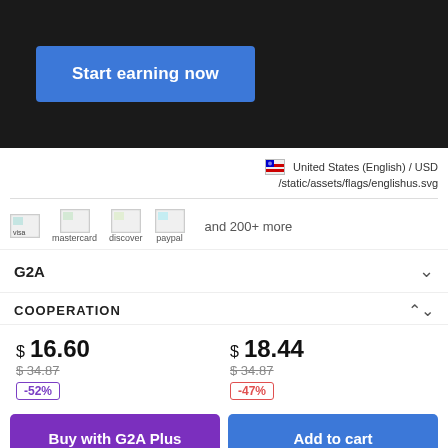Start earning now
United States (English) / USD
/static/assets/flags/englishus.svg
[Figure (other): Payment method icons: visa, mastercard, discover, paypal, and 200+ more]
G2A
COOPERATION
$ 16.60
$34.87
-52%
$ 18.44
$34.87
-47%
Buy with G2A Plus
Add to cart